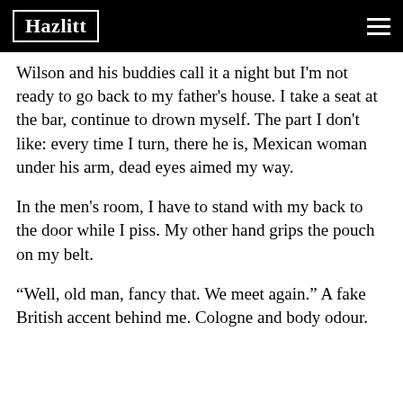Hazlitt
Wilson and his buddies call it a night but I'm not ready to go back to my father's house. I take a seat at the bar, continue to drown myself. The part I don't like: every time I turn, there he is, Mexican woman under his arm, dead eyes aimed my way.
In the men's room, I have to stand with my back to the door while I piss. My other hand grips the pouch on my belt.
“Well, old man, fancy that. We meet again.” A fake British accent behind me. Cologne and body odour.